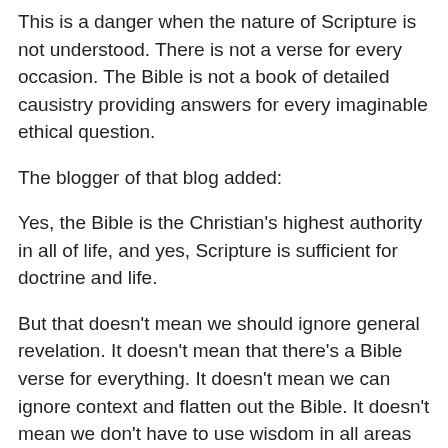This is a danger when the nature of Scripture is not understood. There is not a verse for every occasion. The Bible is not a book of detailed causistry providing answers for every imaginable ethical question.
The blogger of that blog added:
Yes, the Bible is the Christian's highest authority in all of life, and yes, Scripture is sufficient for doctrine and life.
But that doesn't mean we should ignore general revelation. It doesn't mean that there's a Bible verse for everything. It doesn't mean we can ignore context and flatten out the Bible. It doesn't mean we don't have to use wisdom in all areas of life.